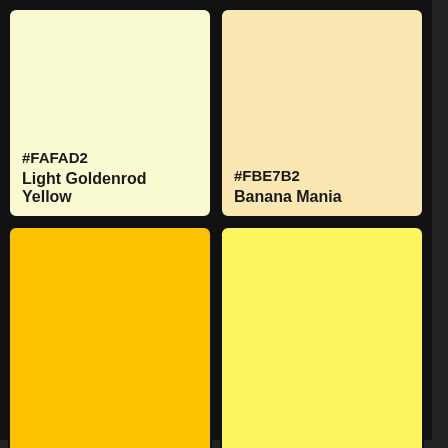[Figure (infographic): Color swatch grid showing yellow color variants. Top-left: #FAFAD2 Light Goldenrod Yellow. Top-right: #FBE7B2 Banana Mania. Middle-left: #FCC200 Golden Poppy. Middle-right: #FCF75E Icterine. Bottom-left: #FFFF00 (yellow, no label visible). Bottom-right: light yellow with CLOSE button. Below that: two more pale yellow swatches.]